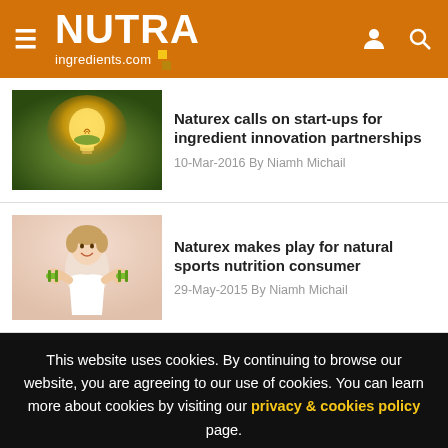NUTRA ingredients.com
Naturex calls on start-ups for ingredient innovation partnerships
10-Mar-2016 By Niamh Michail
[Figure (photo): Glowing lightbulb with landscape inside it]
Naturex makes play for natural sports nutrition consumer
29-May-2015 By Niamh Michail
[Figure (photo): Woman holding green dumbbells, smiling]
This website uses cookies. By continuing to browse our website, you are agreeing to our use of cookies. You can learn more about cookies by visiting our privacy & cookies policy page.
I Agree